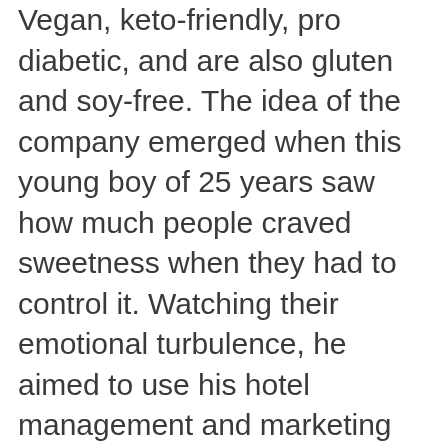Vegan, keto-friendly, pro diabetic, and are also gluten and soy-free. The idea of the company emerged when this young boy of 25 years saw how much people craved sweetness when they had to control it. Watching their emotional turbulence, he aimed to use his hotel management and marketing knowledge to create something cool.
As it is said what you seek seeks you, this turned into reality when he met Lt Colonel Dr Awaneesh Pandey who runs his diabetic clinic and is a wellness coach too. Under his expert metabolic guidance, he created Razzle chocolates with the